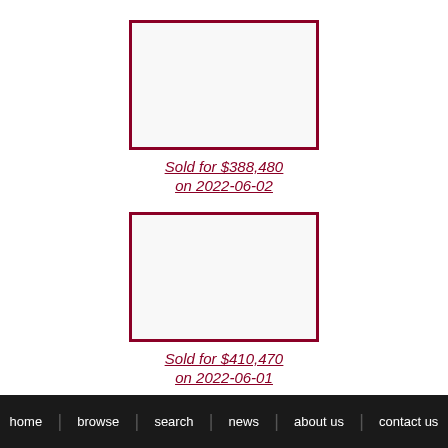[Figure (photo): Property image placeholder with dark red border, first listing]
Sold for $388,480
on 2022-06-02
[Figure (photo): Property image placeholder with dark red border, second listing]
Sold for $410,470
on 2022-06-01
home   browse   search   news   about us   contact us